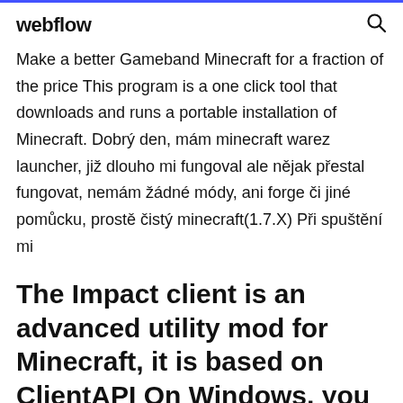webflow
Make a better Gameband Minecraft for a fraction of the price This program is a one click tool that downloads and runs a portable installation of Minecraft. Dobrý den, mám minecraft warez launcher, již dlouho mi fungoval ale nějak přestal fungovat, nemám žádné módy, ani forge či jiné pomůcku, prostě čistý minecraft(1.7.X) Při spuštění mi
The Impact client is an advanced utility mod for Minecraft, it is based on ClientAPI On Windows, you may run into the following